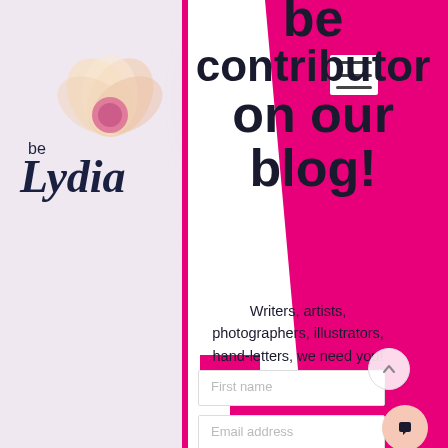[Figure (illustration): be Lydia blog website screenshot with pink and white design, logo with watercolor flower, contributor signup page]
be contributor on our blog!
Writers, artists, photographers, illustrators, hand-letters, we need you!
First name
Email address